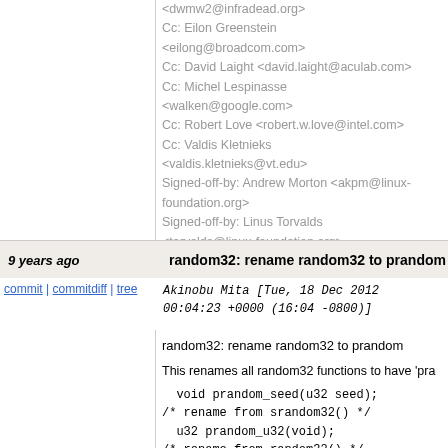<dwmw2@infradead.org>
Cc: Eilon Greenstein <eilong@broadcom.com>
Cc: David Laight <david.laight@aculab.com>
Cc: Michel Lespinasse <walken@google.com>
Cc: Robert Love <robert.w.love@intel.com>
Cc: Valdis Kletnieks <valdis.kletnieks@vt.edu>
Signed-off-by: Andrew Morton <akpm@linux-foundation.org>
Signed-off-by: Linus Torvalds <torvalds@linux-foundation.org>
9 years ago
random32: rename random32 to prandom
commit | commitdiff | tree   Akinobu Mita [Tue, 18 Dec 2012 00:04:23 +0000 (16:04 -0800)]
random32: rename random32 to prandom

This renames all random32 functions to have 'pra

  void prandom_seed(u32 seed);
/* rename from srandom32() */
  u32 prandom_u32(void);
/* rename from random32() */
  void prandom_seed_state(struct rnd_state *state
    /* rename from prandom32_seed() */
  u32 prandom_u32_state(struct rnd_state *state);
    /* rename from prandom32() */